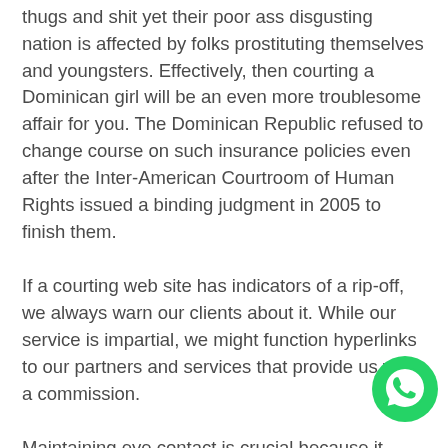thugs and shit yet their poor ass disgusting nation is affected by folks prostituting themselves and youngsters. Effectively, then courting a Dominican girl will be an even more troublesome affair for you. The Dominican Republic refused to change course on such insurance policies even after the Inter-American Courtroom of Human Rights issued a binding judgment in 2005 to finish them.
If a courting web site has indicators of a rip-off, we always warn our clients about it. While our service is impartial, we might function hyperlinks to our partners and services that provide us with a commission.
Maintaining eye contact is crucial because it signifies curiosity. Although punctuality is considered a good guests aren't anticipated to arrive on time for social events. Arriving between 15 and half-hour later than the stipulated
[Figure (other): WhatsApp GetButton floating chat widget button in green circle]